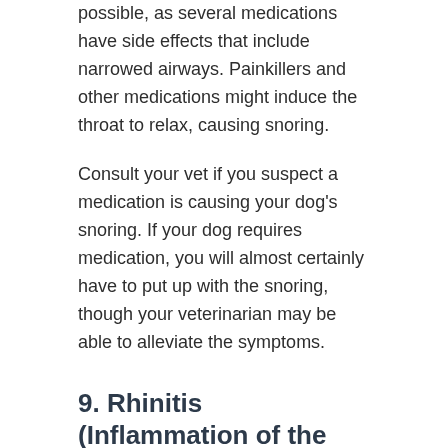possible, as several medications have side effects that include narrowed airways. Painkillers and other medications might induce the throat to relax, causing snoring.
Consult your vet if you suspect a medication is causing your dog's snoring. If your dog requires medication, you will almost certainly have to put up with the snoring, though your veterinarian may be able to alleviate the symptoms.
9. Rhinitis (Inflammation of the Nose)
Like the common cold in humans, Rhinitis in dogs affects the nose. Your pet may develop a runny